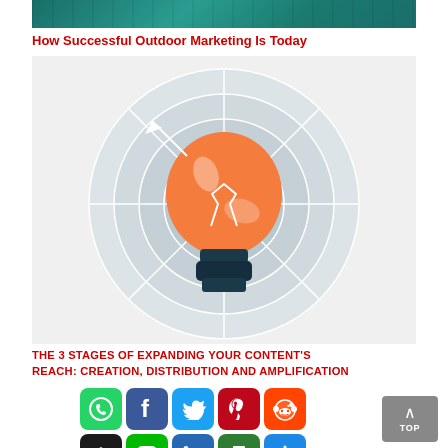[Figure (photo): Teal-tinted outdoor street scene with pedestrians, cropped at top]
How Successful Outdoor Marketing Is Today
[Figure (infographic): Circular target/radar diagram with white grid lines and an orange lightbulb in the center on a light gray background, with a white arrow pointing outward]
THE 3 STAGES OF EXPANDING YOUR CONTENT'S REACH: CREATION, DISTRIBUTION AND AMPLIFICATION
[Figure (infographic): Row of social media share buttons: WhatsApp (green), Facebook (blue), Twitter (light blue), Pinterest (dark red), Reddit (orange); second row: Buffer (black), Line (green), LinkedIn (blue), Print (dark green), Add/More (blue)]